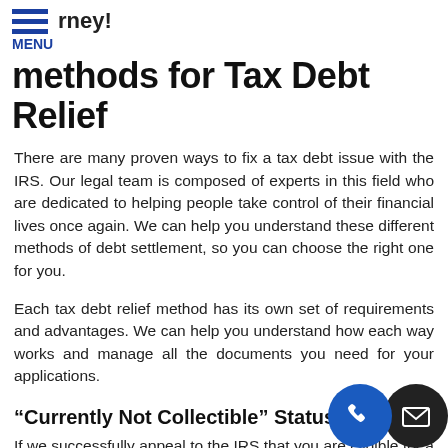rney!
methods for Tax Debt Relief
There are many proven ways to fix a tax debt issue with the IRS. Our legal team is composed of experts in this field who are dedicated to helping people take control of their financial lives once again. We can help you understand these different methods of debt settlement, so you can choose the right one for you.
Each tax debt relief method has its own set of requirements and advantages. We can help you understand how each way works and manage all the documents you need for your applications.
“Currently Not Collectible” Status
If we successfully appeal to the IRS that you are eligible for a “currently not collectible” status, the give a year to fix your financial situation and settle your debt with